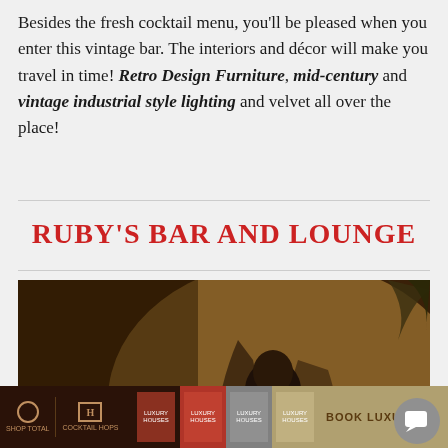Besides the fresh cocktail menu, you'll be pleased when you enter this vintage bar. The interiors and décor will make you travel in time! Retro Design Furniture, mid-century and vintage industrial style lighting and velvet all over the place!
RUBY'S BAR AND LOUNGE
[Figure (photo): Interior photo of a vintage bar lounge with warm amber lighting. A woman in a bodysuit stands holding something, with dramatic shadows on the wall behind her. Bar tables and chairs are visible in the foreground along with bottles.]
Book covers and navigation footer bar with Luxury Houses book thumbnails and BOOK LUXU text